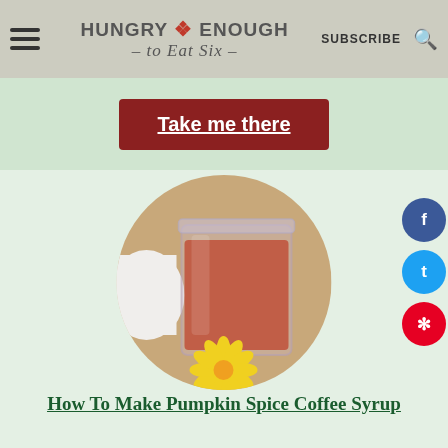HUNGRY • ENOUGH to Eat Six | SUBSCRIBE
Take me there
[Figure (photo): A glass mason jar filled with reddish-amber pumpkin spice coffee syrup, with a yellow flower at the base, shown in a circular crop on a light green background.]
How To Make Pumpkin Spice Coffee Syrup